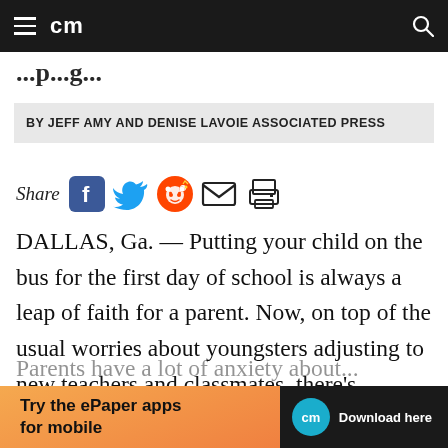cm
BY JEFF AMY AND DENISE LAVOIE ASSOCIATED PRESS
[Figure (infographic): Share icons row: Share label followed by Facebook, Twitter, Reddit, Email, and Print icons]
DALLAS, Ga. — Putting your child on the bus for the first day of school is always a leap of faith for a parent. Now, on top of the usual worries about youngsters adjusting to new teachers and classmates, there's COVID-19.
[Figure (infographic): Advertisement banner: Try the ePaper apps for mobile — Download here, with cm logo badge]